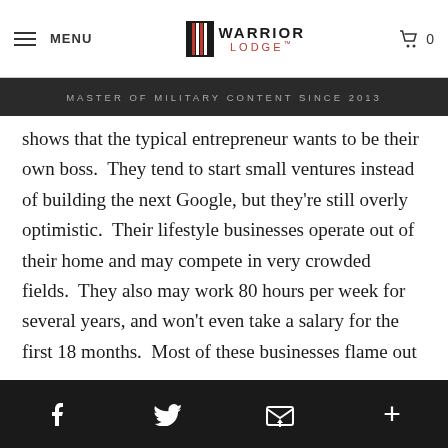MENU | WARRIOR LODGE | MASTER OF MILITARY CONTENT SINCE 2013
shows that the typical entrepreneur wants to be their own boss.  They tend to start small ventures instead of building the next Google, but they're still overly optimistic.  Their lifestyle businesses operate out of their home and may compete in very crowded fields.  They also may work 80 hours per week for several years, and won't even take a salary for the first 18 months.  Most of these businesses flame out within five years-- after lower earnings (and worse benefits) than traditional employment.
f [twitter] [email] +